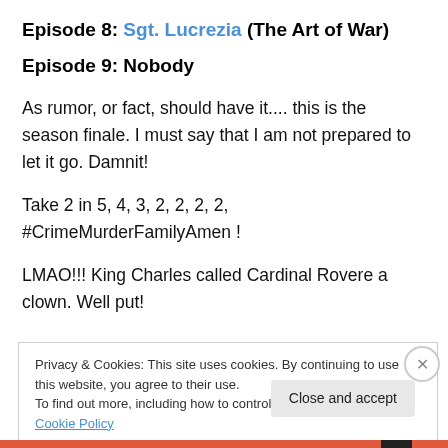Episode 8: Sgt. Lucrezia (The Art of War)
Episode 9: Nobody
As rumor, or fact, should have it.... this is the season finale. I must say that I am not prepared to let it go. Damnit!
Take 2 in 5, 4, 3, 2, 2, 2, 2, #CrimeMurderFamilyAmen !
LMAO!!! King Charles called Cardinal Rovere a clown. Well put!
Privacy & Cookies: This site uses cookies. By continuing to use this website, you agree to their use.
To find out more, including how to control cookies, see here: Cookie Policy